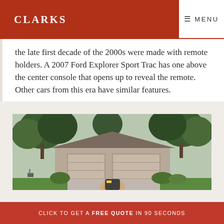CLARKS | MENU
the late first decade of the 2000s were made with remote holders. A 2007 Ford Explorer Sport Trac has one above the center console that opens up to reveal the remote. Other cars from this era have similar features.
[Figure (photo): A house with a two-car garage viewed from the street, surrounded by green trees and lawn. A hand holding a garage door remote is visible in the foreground.]
CLICK TO GET A FREE QUOTE IN 90 SECONDS